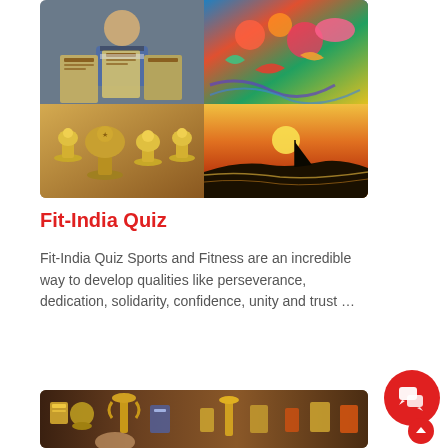[Figure (photo): Collage of four photos: top-left shows a child holding certificates/awards, bottom-left shows golden trophies and awards on a table, top-right shows a colorful painted artwork with birds and flowers, bottom-right shows a painting of a sailboat on water at sunset.]
Fit-India Quiz
Fit-India Quiz Sports and Fitness are an incredible way to develop qualities like perseverance, dedication, solidarity, confidence, unity and trust …
Read More
[Figure (photo): Photo showing trophies, medals, and awards displayed on a shelf or table with a dark wooden background.]